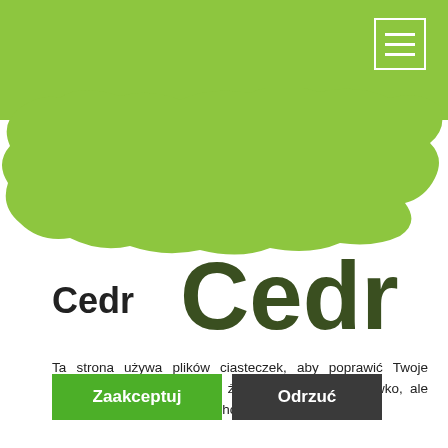[Figure (illustration): Green header bar with hamburger menu icon (three horizontal white lines inside a white bordered rectangle) in top right corner]
[Figure (illustration): Green organic tree/foliage shape logo in lime green color spanning the width of the page]
Cedr
Ta strona używa plików ciasteczek, aby poprawić Twoje doświadczenia. Zakładamy, że nie masz nic przeciwko, ale możesz zrezygnować, jeśli chcesz. Czytaj więcej...
Zaakceptuj
Odrzuć